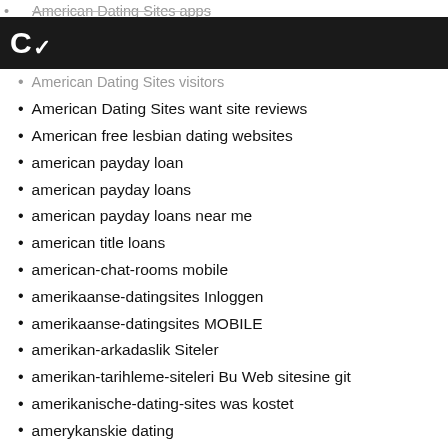American Dating Sites apps
C~
American Dating Sites visitors
American Dating Sites want site reviews
American free lesbian dating websites
american payday loan
american payday loans
american payday loans near me
american title loans
american-chat-rooms mobile
amerikaanse-datingsites Inloggen
amerikaanse-datingsites MOBILE
amerikan-arkadaslik Siteler
amerikan-tarihleme-siteleri Bu Web sitesine git
amerikanische-dating-sites was kostet
amerykanskie dating
amino espa?a
Amino frauen app
amino premio
Amino review
amino reviews
Amino useful content
Amino visitors
amino-overzicht BRAND1-app
amolatina cs review